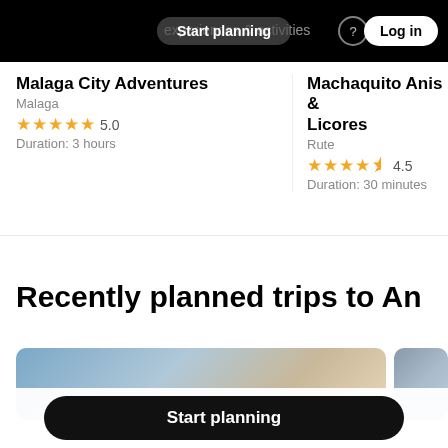Start planning | experiences & activities | Log in
Malaga City Adventures
Malaga
★★★★★ 5.0
Duration: 3 hours
Machaquito Anis & Licores
Rute
★★★★½ 4.5
Duration: 30 minutes
Recently planned trips to An
[Figure (photo): Photo of a historic building facade with classical architecture, blue sky]
[Figure (photo): Partial photo of a travel destination]
Start planning